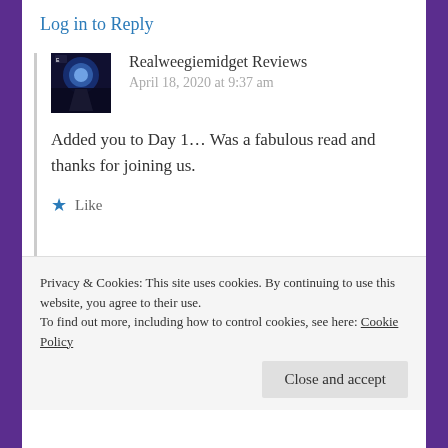Log in to Reply
[Figure (photo): Avatar image showing a dark silhouette figure with a bright glowing background, TV channel logo]
Realweegiemidget Reviews
April 18, 2020 at 9:37 am
Added you to Day 1… Was a fabulous read and thanks for joining us.
Like
[Figure (photo): Partial avatar image showing a face with orange/brown tones]
Privacy & Cookies: This site uses cookies. By continuing to use this website, you agree to their use.
To find out more, including how to control cookies, see here: Cookie Policy
Close and accept